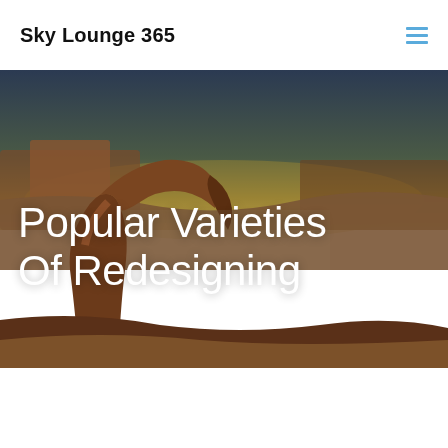Sky Lounge 365
[Figure (photo): Landscape photo of a desert rock arch formation (Delicate Arch style) with reddish sandstone formations in the foreground and background, taken at dusk or dawn with a warm yellowish sky on the horizon.]
Popular Varieties Of Redesigning